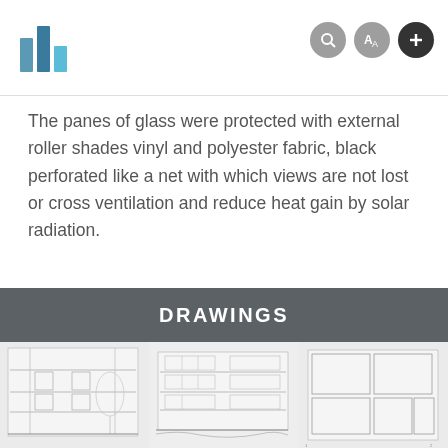[Figure (logo): Building/architecture logo with blue bar chart style icon]
[Figure (infographic): Navigation icons: search (magnifying glass), translate (A), and plus button in header]
The panes of glass were protected with external roller shades vinyl and polyester fabric, black perforated like a net with which views are not lost or cross ventilation and reduce heat gain by solar radiation.
DRAWINGS
[Figure (engineering-diagram): Architectural technical drawings showing building cross-sections, elevations and floor plans in light blue/grey line drawings]